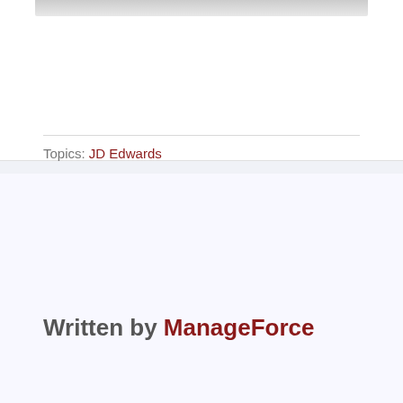[Figure (other): Gray gradient image bar at the top of the card]
Topics: JD Edwards
Written by ManageForce